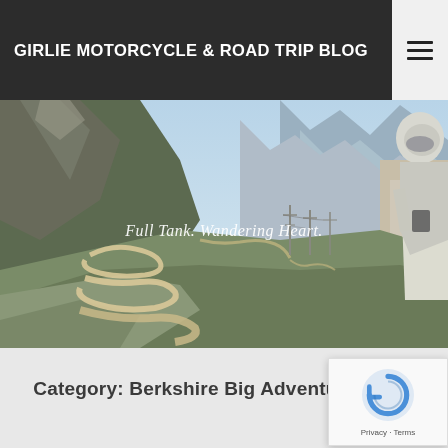GIRLIE MOTORCYCLE & ROAD TRIP BLOG
[Figure (photo): Aerial view of winding mountain road switchbacks with rocky alpine terrain and mountains in background; motorcyclist in white jacket and helmet visible at right edge. Overlaid italic text reads: Full Tank. Wandering Heart.]
Category: Berkshire Big Adventu…